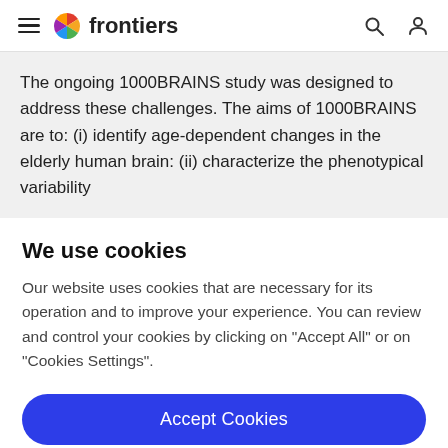frontiers
The ongoing 1000BRAINS study was designed to address these challenges. The aims of 1000BRAINS are to: (i) identify age-dependent changes in the elderly human brain: (ii) characterize the phenotypical variability
We use cookies
Our website uses cookies that are necessary for its operation and to improve your experience. You can review and control your cookies by clicking on "Accept All" or on "Cookies Settings".
Accept Cookies
Cookies Settings